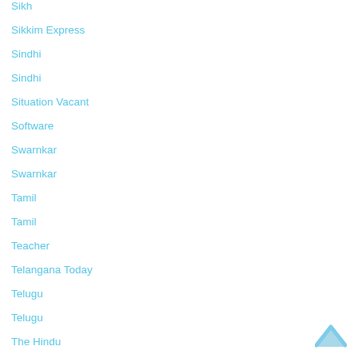Sikh
Sikkim Express
Sindhi
Sindhi
Situation Vacant
Software
Swarnkar
Swarnkar
Tamil
Tamil
Teacher
Telangana Today
Telugu
Telugu
The Hindu